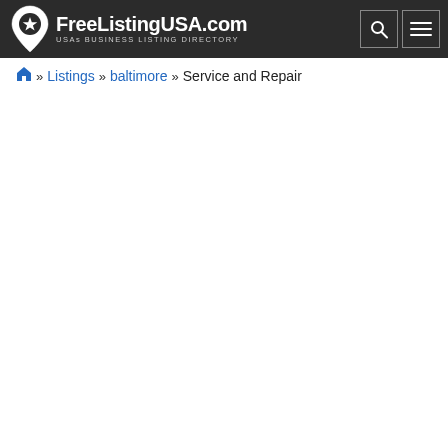FreeListingUSA.com — USAs BUSINESS LISTING DIRECTORY
🏠 » Listings » baltimore » Service and Repair